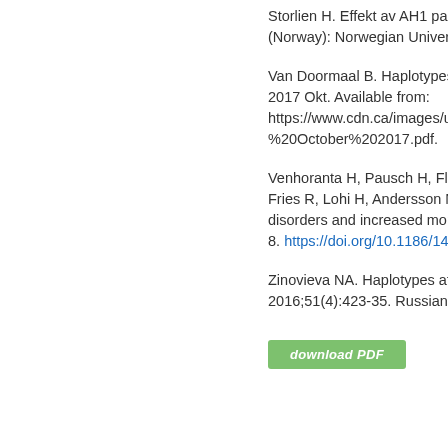Storlien H. Effekt av AH1 pa do (Norway): Norwegian Universi
Van Doormaal B. Haplotypes a 2017 Okt. Available from: https://www.cdn.ca/images/upl %20October%202017.pdf.
Venhoranta H, Pausch H, Flisi Fries R, Lohi H, Andersson M. disorders and increased morta 8. https://doi.org/10.1186/1471
Zinovieva NA. Haplotypes affe 2016;51(4):423-35. Russian. h
[Figure (other): Green download PDF button]